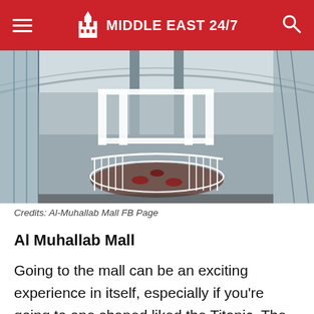MIDDLE EAST 24/7
[Figure (photo): Interior of Al-Muhallab Mall showing a multi-story atrium with white structural elements, glass railings, and a circular seating/dining area on a lower level, with tall pillars and natural light from above.]
Credits: Al-Muhallab Mall FB Page
Al Muhallab Mall
Going to the mall can be an exciting experience in itself, especially if you're going to one shaped liked the Titanic. The mall has everything shoppers may need, from quality retail products